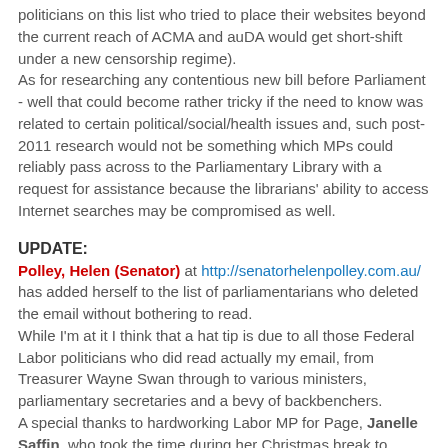politicians on this list who tried to place their websites beyond the current reach of ACMA and auDA would get short-shift under a new censorship regime). As for researching any contentious new bill before Parliament - well that could become rather tricky if the need to know was related to certain political/social/health issues and, such post-2011 research would not be something which MPs could reliably pass across to the Parliamentary Library with a request for assistance because the librarians' ability to access Internet searches may be compromised as well.
UPDATE:
Polley, Helen (Senator) at http://senatorhelenpolley.com.au/ has added herself to the list of parliamentarians who deleted the email without bothering to read. While I'm at it I think that a hat tip is due to all those Federal Labor politicians who did read actually my email, from Treasurer Wayne Swan through to various ministers, parliamentary secretaries and a bevy of backbenchers. A special thanks to hardworking Labor MP for Page, Janelle Saffin, who took the time during her Christmas break to personally acknowledge receipt of the email.